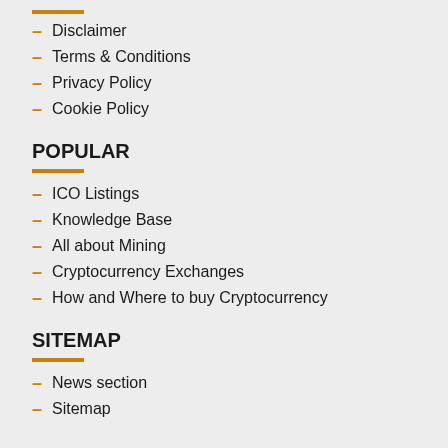Disclaimer
Terms & Conditions
Privacy Policy
Cookie Policy
POPULAR
ICO Listings
Knowledge Base
All about Mining
Cryptocurrency Exchanges
How and Where to buy Cryptocurrency
SITEMAP
News section
Sitemap